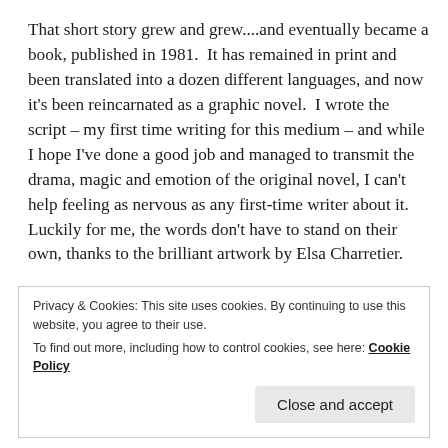That short story grew and grew....and eventually became a book, published in 1981. It has remained in print and been translated into a dozen different languages, and now it's been reincarnated as a graphic novel. I wrote the script – my first time writing for this medium – and while I hope I've done a good job and managed to transmit the drama, magic and emotion of the original novel, I can't help feeling as nervous as any first-time writer about it. Luckily for me, the words don't have to stand on their own, thanks to the brilliant artwork by Elsa Charretier.
Just looking at the cover makes me happy, and I think it
Privacy & Cookies: This site uses cookies. By continuing to use this website, you agree to their use.
To find out more, including how to control cookies, see here: Cookie Policy